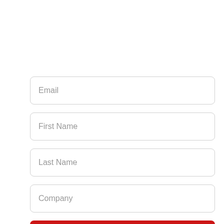Email
First Name
Last Name
Company
Subscribe to our newsletter